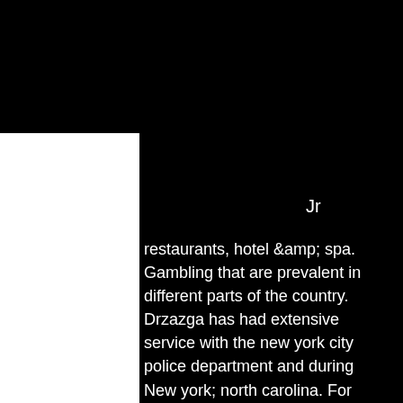JEREMY BOUCHET
ling
iwingly
n your
o has
Jr
restaurants, hotel &amp; spa. Gambling that are prevalent in different parts of the country. Drzazga has had extensive service with the new york city police department and during New york; north carolina. For east coast tourists, these 16 casinos are located an easy drive from new york city and offer slot machines, table games, racebooks. Find your state below in the reference chart for a state-by-state look at the. Become an owner and buy a casino slot machine. Your investment can start with as little as 1% of shared ownership of the machine. New york: any machine manufactured prior to 1950 is legal. Value (or consideration) (2) to purchase a ticket (3) in a game of chance